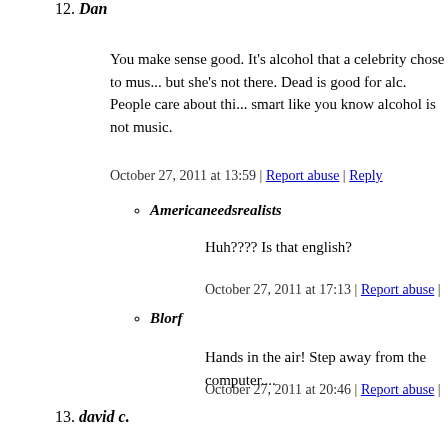12. Dan
You make sense good. It's alcohol that a celebrity chose to mus... but she's not there. Dead is good for alc. People care about thi... smart like you know alcohol is not music.
October 27, 2011 at 13:59 | Report abuse | Reply
Americaneedsrealists
Huh???? Is that english?
October 27, 2011 at 17:13 | Report abuse |
Blorf
Hands in the air! Step away from the computer....
October 27, 2011 at 20:46 | Report abuse |
13. david c.
david c.
Alcohol and drugs are both a choice and an addiction...I was ra... choice to do both for many years...and yes I eventually was qu... stop for many reasons including health and not raising my kids... was very difficult to stop both...but with proper help I have liv... years now. My personal opinion is its a choice not a disease..I...